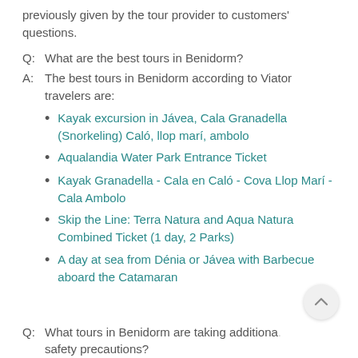previously given by the tour provider to customers' questions.
Q:  What are the best tours in Benidorm?
A:  The best tours in Benidorm according to Viator travelers are:
Kayak excursion in Jávea, Cala Granadella (Snorkeling) Caló, llop marí, ambolo
Aqualandia Water Park Entrance Ticket
Kayak Granadella - Cala en Caló - Cova Llop Marí - Cala Ambolo
Skip the Line: Terra Natura and Aqua Natura Combined Ticket (1 day, 2 Parks)
A day at sea from Dénia or Jávea with Barbecue aboard the Catamaran
Q:  What tours in Benidorm are taking additional safety precautions?